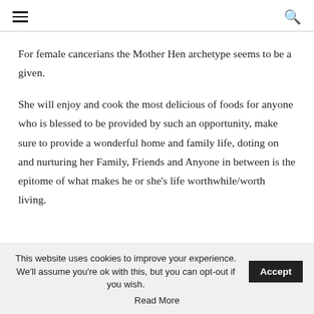≡ 🔍
For female cancerians the Mother Hen archetype seems to be a given.
She will enjoy and cook the most delicious of foods for anyone who is blessed to be provided by such an opportunity, make sure to provide a wonderful home and family life, doting on and nurturing her Family, Friends and Anyone in between is the epitome of what makes he or she's life worthwhile/worth living.
This website uses cookies to improve your experience. We'll assume you're ok with this, but you can opt-out if you wish. Accept Read More